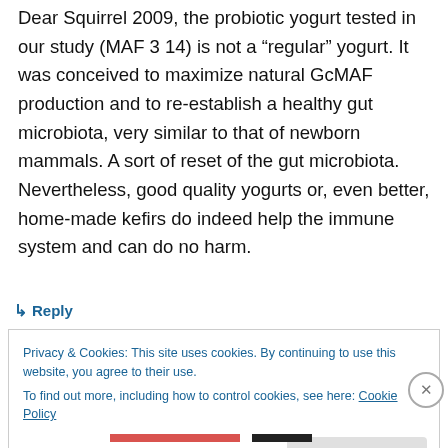Dear Squirrel 2009, the probiotic yogurt tested in our study (MAF 3 14) is not a “regular” yogurt. It was conceived to maximize natural GcMAF production and to re-establish a healthy gut microbiota, very similar to that of newborn mammals. A sort of reset of the gut microbiota. Nevertheless, good quality yogurts or, even better, home-made kefirs do indeed help the immune system and can do no harm.
↳ Reply
Privacy & Cookies: This site uses cookies. By continuing to use this website, you agree to their use.
To find out more, including how to control cookies, see here: Cookie Policy